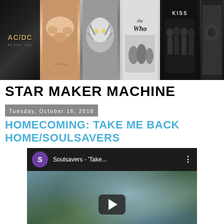[Figure (illustration): Header banner with six rock album covers in a horizontal strip: AC/DC Black Ice, a band group photo (Endless Summer style), a tiger/zebra cover, The Who, KISS, and a partially visible sixth album.]
STAR MAKER MACHINE
Tuesday, October 16, 2018
HOMECOMING: TAKE ME BACK HOME/SOULSAVERS
[Figure (screenshot): Embedded YouTube video player showing a Soulsavers video titled 'Take...' with a purple channel avatar showing 'S', a dark top bar, a blurred outdoor/tree thumbnail, a dark rounded-rectangle play button, and a blue dot decoration.]